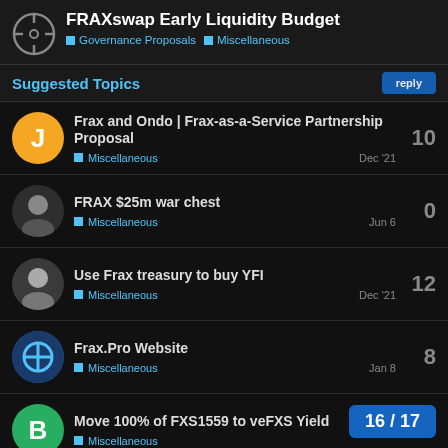FRAXswap Early Liquidity Budget — Governance Proposals · Miscellaneous
Suggested Topics
Frax and Ondo | Frax-as-a-Service Partnership Proposal — Miscellaneous — Dec '21 — 10
FRAX $25m war chest — Miscellaneous — Jun 6 — 0
Use Frax treasury to buy YFI — Miscellaneous — Dec '21 — 12
Frax.Pro Website — Miscellaneous — Jan 8 — 8
Move 100% of FXS1559 to veFXS Yield — Miscellaneous — 10
16 / 17